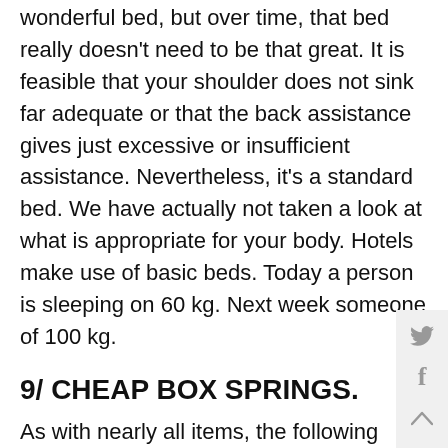Initially, during the adjustment period, it might feel like a wonderful bed, but over time, that bed really doesn't need to be that great. It is feasible that your shoulder does not sink far adequate or that the back assistance gives just excessive or insufficient assistance. Nevertheless, it's a standard bed. We have actually not taken a look at what is appropriate for your body. Hotels make use of basic beds. Today a person is sleeping on 60 kg. Next week someone of 100 kg.
9/ CHEAP BOX SPRINGS.
As with nearly all items, the following additionally use below: “All value for cash”. A box spring of, as an example, EUR 500,- usually offers little or no comfort. The materials used usually just have a brief resilience.